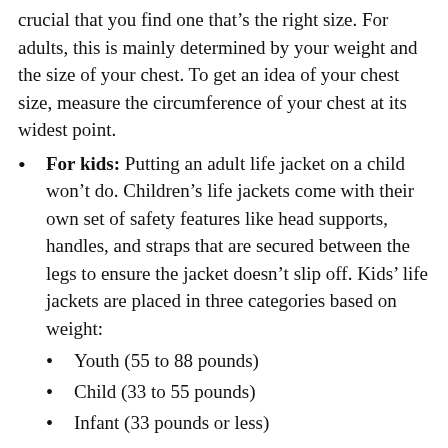crucial that you find one that’s the right size. For adults, this is mainly determined by your weight and the size of your chest. To get an idea of your chest size, measure the circumference of your chest at its widest point.
For kids: Putting an adult life jacket on a child won’t do. Children’s life jackets come with their own set of safety features like head supports, handles, and straps that are secured between the legs to ensure the jacket doesn’t slip off. Kids’ life jackets are placed in three categories based on weight:
Youth (55 to 88 pounds)
Child (33 to 55 pounds)
Infant (33 pounds or less)